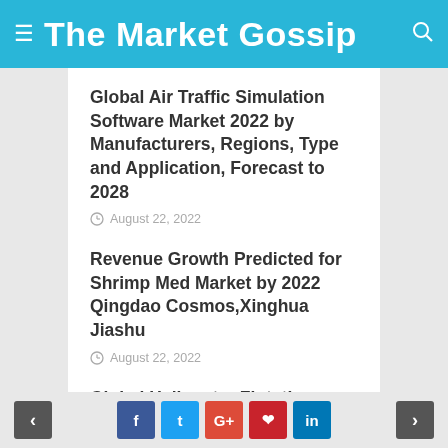The Market Gossip
Global Air Traffic Simulation Software Market 2022 by Manufacturers, Regions, Type and Application, Forecast to 2028
August 22, 2022
Revenue Growth Predicted for Shrimp Med Market by 2022 Qingdao Cosmos,Xinghua Jiashu
August 22, 2022
Global Helicopter Flotation System Market 2022 by Manufacturers, Regions, Type and Application, Forecast to 2028
< f t G+ p in >